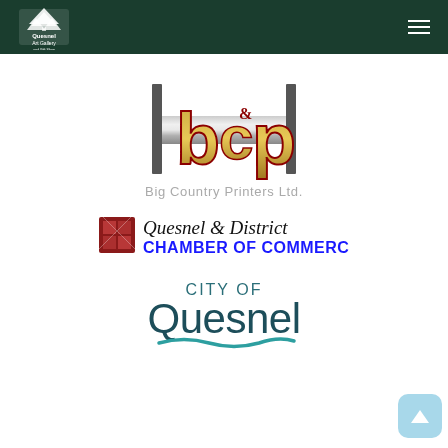Quesnel Art Gallery and Gift Shop
[Figure (logo): Big Country Printers Ltd. logo — stylized 'bcp' letters in gold/red with metallic bar]
Big Country Printers Ltd.
[Figure (logo): Quesnel & District Chamber of Commerce logo — decorative text with icon]
[Figure (logo): City of Quesnel logo — teal/dark teal wordmark with wave underline]